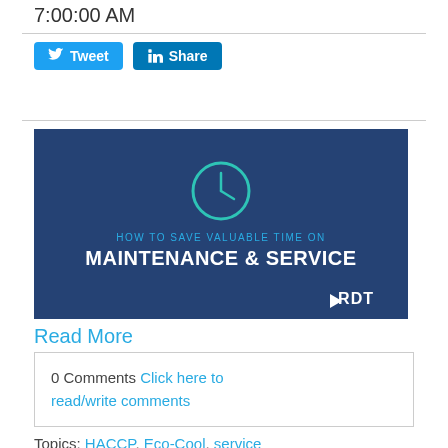7:00:00 AM
[Figure (illustration): RDT promotional banner with dark blue background showing a clock icon and text 'HOW TO SAVE VALUABLE TIME ON MAINTENANCE & SERVICE' with RDT logo at bottom right]
Read More
0 Comments Click here to read/write comments
Topics: HACCP, Eco-Cool, service technician, maintenance